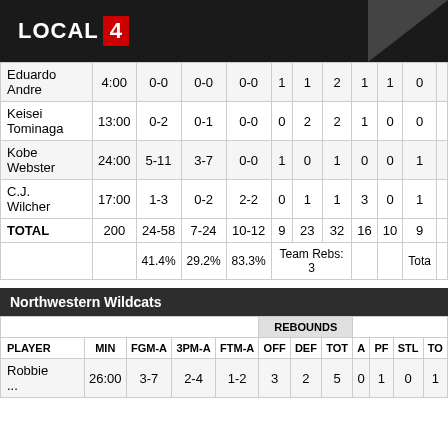[Figure (logo): LOCAL 4 TV station logo with red box around number 4]
| PLAYER | MIN | FGM-A | 3PM-A | FTM-A | OFF | DEF | TOT | A | PF | STL | TO |
| --- | --- | --- | --- | --- | --- | --- | --- | --- | --- | --- | --- |
| Eduardo Andre | 4:00 | 0-0 | 0-0 | 0-0 | 1 | 1 | 2 | 1 | 1 | 0 |  |
| Keisei Tominaga | 13:00 | 0-2 | 0-1 | 0-0 | 0 | 2 | 2 | 1 | 0 | 0 |  |
| Kobe Webster | 24:00 | 5-11 | 3-7 | 0-0 | 1 | 0 | 1 | 0 | 0 | 1 |  |
| C.J. Wilcher | 17:00 | 1-3 | 0-2 | 2-2 | 0 | 1 | 1 | 3 | 0 | 1 |  |
| TOTAL | 200 | 24-58 | 7-24 | 10-12 | 9 | 23 | 32 | 16 | 10 | 9 |  |
|  |  | 41.4% | 29.2% | 83.3% | Team Rebs: 3 |  |  |  |  | Tota |  |
Northwestern Wildcats
| PLAYER | MIN | FGM-A | 3PM-A | FTM-A | OFF | DEF | TOT | A | PF | STL | TO |
| --- | --- | --- | --- | --- | --- | --- | --- | --- | --- | --- | --- |
| Robbie ... | 26:00 | 3-7 | 2-4 | 1-2 | 3 | 2 | 5 | 0 | 1 | 0 | 1 |